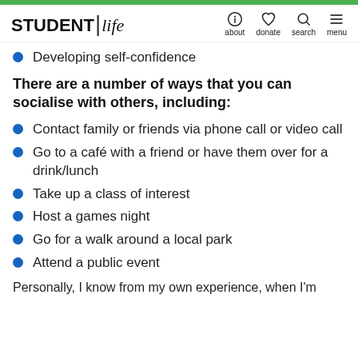STUDENT life | about  donate  search  menu
Developing self-confidence
There are a number of ways that you can socialise with others, including:
Contact family or friends via phone call or video call
Go to a café with a friend or have them over for a drink/lunch
Take up a class of interest
Host a games night
Go for a walk around a local park
Attend a public event
Personally, I know from my own experience, when I'm